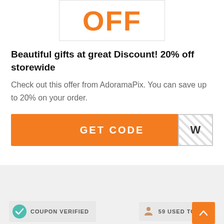[Figure (other): Orange OFF text displayed large in a bordered box]
Beautiful gifts at great Discount! 20% off storewide
Check out this offer from AdoramaPix. You can save up to 20% on your order.
[Figure (other): Orange GET CODE button with hatched reveal box showing letter W]
[Figure (other): COUPON VERIFIED badge with teal checkmark icon]
[Figure (other): 59 USED TODAY badge with person icon]
[Figure (other): Orange scroll-to-top button with up arrow]